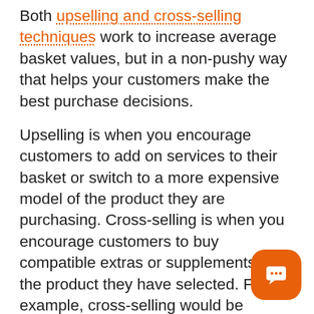Both upselling and cross-selling techniques work to increase average basket values, but in a non-pushy way that helps your customers make the best purchase decisions.
Upselling is when you encourage customers to add on services to their basket or switch to a more expensive model of the product they are purchasing. Cross-selling is when you encourage customers to buy compatible extras or supplements to the product they have selected. For example, cross-selling would be encouraging the purchase of a pair of headphones to a customer buying a smartphone, while upselling on this item would be encouraging the customer to buy a more expensive smartphone within the range that has a bigger screen.
[Figure (other): Orange rounded chat button with speech bubble icon in bottom right corner]